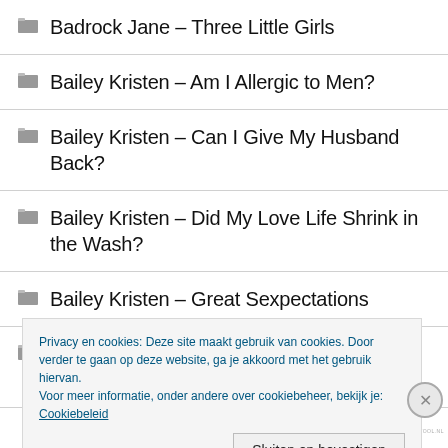Badrock Jane – Three Little Girls
Bailey Kristen – Am I Allergic to Men?
Bailey Kristen – Can I Give My Husband Back?
Bailey Kristen – Did My Love Life Shrink in the Wash?
Bailey Kristen – Great Sexpectations
Bailey Kristen – Has Anyone Seen My Sex Life?
Privacy en cookies: Deze site maakt gebruik van cookies. Door verder te gaan op deze website, ga je akkoord met het gebruik hiervan.
Voor meer informatie, onder andere over cookiebeheer, bekijk je:
Cookiebeleid
Sluiten en bevestigen